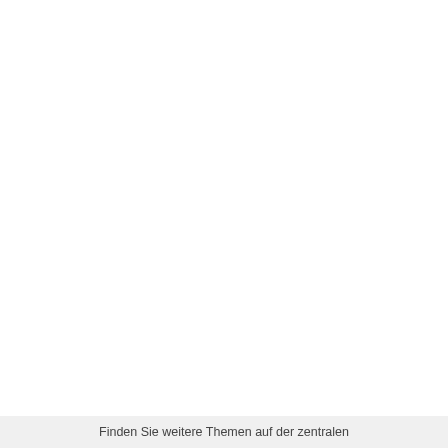Finden Sie weitere Themen auf der zentralen